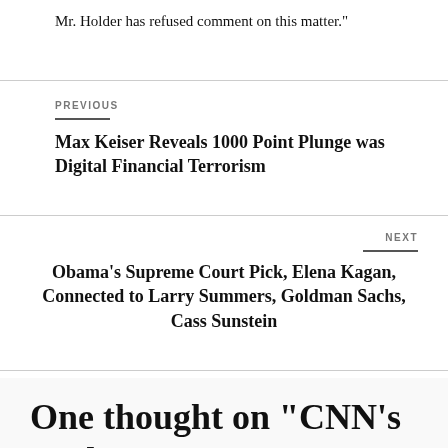Mr. Holder has refused comment on this matter.”
PREVIOUS
Max Keiser Reveals 1000 Point Plunge was Digital Financial Terrorism
NEXT
Obama’s Supreme Court Pick, Elena Kagan, Connected to Larry Summers, Goldman Sachs, Cass Sunstein
One thought on “CNN’s Anderson Cooper hosting H...